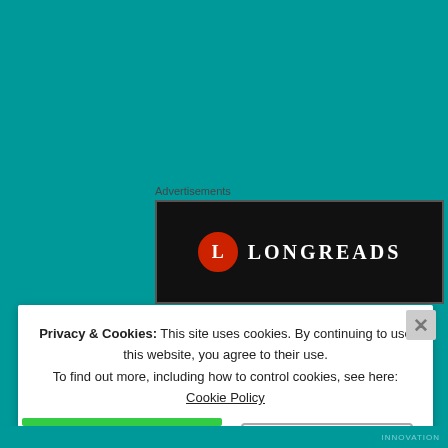[Figure (screenshot): Teal/dark-cyan website background with advertisement area]
Advertisements
[Figure (logo): Longreads advertisement banner — black background with Longreads logo (red circle with L) and LONGREADS text in white]
[Figure (screenshot): Comment block showing J. P. K. | JOHANDROS SYSTEMS avatar and name, dated NOV 18, 2020 AT 23:28, with partial comment text beginning 'Overthinking is a word I don't like, since it seems negative']
J. P. K. | JOHANDROS SYSTEMS says:
NOV 18, 2020 AT 23:28
Overthinking is a word I don't like, since it seems negative
Privacy & Cookies: This site uses cookies. By continuing to use this website, you agree to their use.
To find out more, including how to control cookies, see here: Cookie Policy